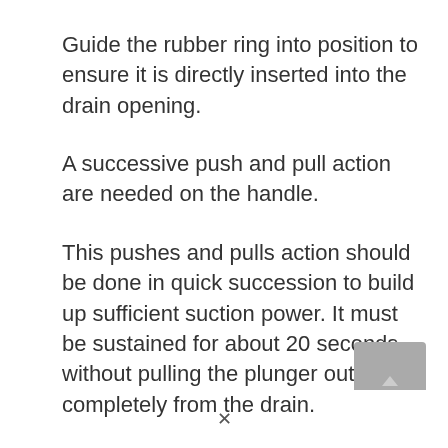Guide the rubber ring into position to ensure it is directly inserted into the drain opening.
A successive push and pull action are needed on the handle.
This pushes and pulls action should be done in quick succession to build up sufficient suction power. It must be sustained for about 20 seconds without pulling the plunger out completely from the drain.